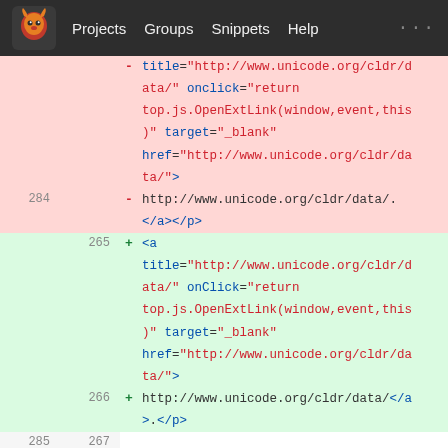Projects   Groups   Snippets   Help
[Figure (screenshot): GitLab diff view showing changes to HTML code around lines 284-268, with old lines on pink background and new lines on green background. Code shows an anchor tag with unicode.org URL attributes, and a paragraph notice to user about a legal agreement.]